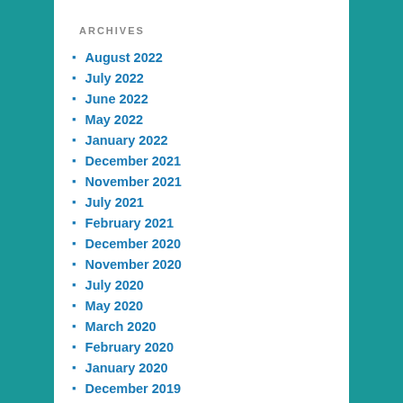ARCHIVES
August 2022
July 2022
June 2022
May 2022
January 2022
December 2021
November 2021
July 2021
February 2021
December 2020
November 2020
July 2020
May 2020
March 2020
February 2020
January 2020
December 2019
October 2019
August 2019